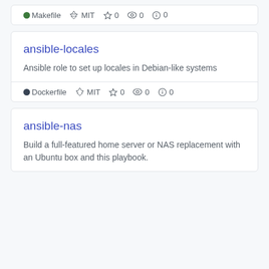● Makefile ⚖ MIT ☆ 0 👁 0 ⊕ 0
ansible-locales
Ansible role to set up locales in Debian-like systems
● Dockerfile ⚖ MIT ☆ 0 👁 0 ⊕ 0
ansible-nas
Build a full-featured home server or NAS replacement with an Ubuntu box and this playbook.